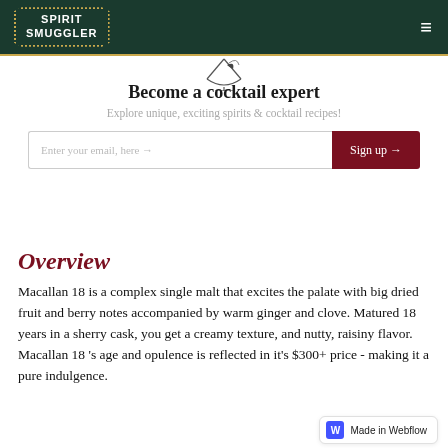Spirit Smuggler
[Figure (illustration): Partial cocktail glass illustration at top center]
Become a cocktail expert
Explore unique, exciting spirits & cocktail recipes!
Enter your email, here → [Sign up →]
Overview
Macallan 18 is a complex single malt that excites the palate with big dried fruit and berry notes accompanied by warm ginger and clove. Matured 18 years in a sherry cask, you get a creamy texture, and nutty, raisiny flavor. Macallan 18 's age and opulence is reflected in it's $300+ price - making it a pure indulgence.